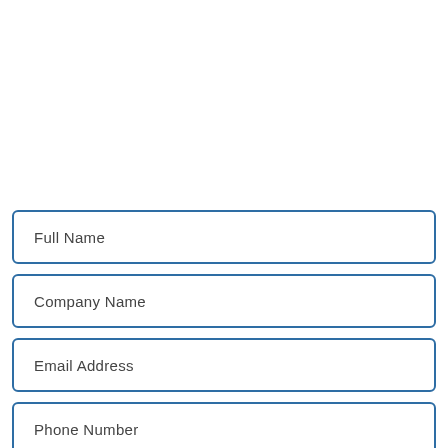Full Name
Company Name
Email Address
Phone Number